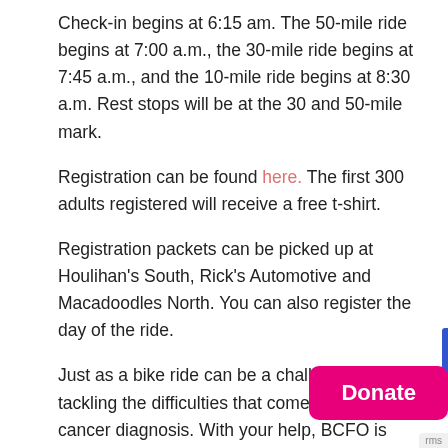Check-in begins at 6:15 am. The 50-mile ride begins at 7:00 a.m., the 30-mile ride begins at 7:45 a.m., and the 10-mile ride begins at 8:30 a.m. Rest stops will be at the 30 and 50-mile mark.
Registration can be found here. The first 300 adults registered will receive a free t-shirt.
Registration packets can be picked up at Houlihan's South, Rick's Automotive and Macadoodles North. You can also register the day of the ride.
Just as a bike ride can be a challenge, so is tackling the difficulties that come with a breast cancer diagnosis. With your help, BCFO is helping breast cancer patients across the Ozarks cross their personal finish line.
In addition to paying the life expenses of breast can...